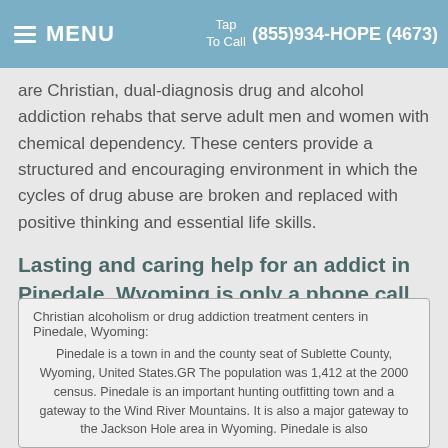MENU  Tap To Call  (855)934-HOPE (4673)
are Christian, dual-diagnosis drug and alcohol addiction rehabs that serve adult men and women with chemical dependency. These centers provide a structured and encouraging environment in which the cycles of drug abuse are broken and replaced with positive thinking and essential life skills.
Lasting and caring help for an addict in Pinedale, Wyoming is only a phone call away. Look here for the most affordable, Faith-Based addiction treatment alternatives that are easily accessible from Pinedale, Wyoming.
Christian alcoholism or drug addiction treatment centers in Pinedale, Wyoming:

Pinedale is a town in and the county seat of Sublette County, Wyoming, United States.GR The population was 1,412 at the 2000 census. Pinedale is an important hunting outfitting town and a gateway to the Wind River Mountains. It is also a major gateway to the Jackson Hole area in Wyoming. Pinedale is also